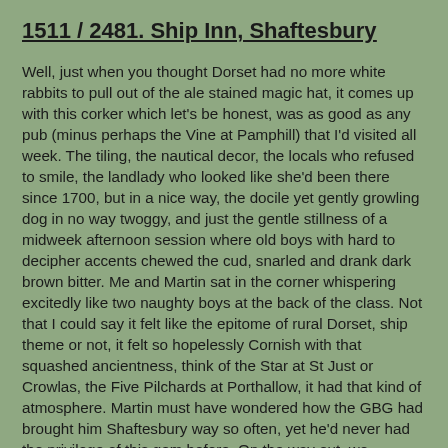1511 / 2481.  Ship Inn, Shaftesbury
Well, just when you thought Dorset had no more white rabbits to pull out of the ale stained magic hat, it comes up with this corker which let's be honest, was as good as any pub (minus perhaps the Vine at Pamphill) that I'd visited all week.  The tiling, the nautical decor, the locals who refused to smile, the landlady who looked like she'd been there since 1700, but in a nice way, the docile yet gently growling dog in no way twoggy, and just the gentle stillness of a midweek afternoon session where old boys with hard to decipher accents chewed the cud, snarled and drank dark brown bitter.  Me and Martin sat in the corner whispering excitedly like two naughty boys at the back of the class.  Not that I could say it felt like the epitome of rural Dorset, ship theme or not, it felt so hopelessly Cornish with that squashed ancientness, think of the Star at St Just or Crowlas, the Five Pilchards at Porthallow, it had that kind of atmosphere.  Martin must have wondered how the GBG had brought him Shaftesbury way so often, yet he'd never had the privilege of this gem before.  On the way out, we discovered small side rooms just as beautiful as the rest of the pub, my only regret